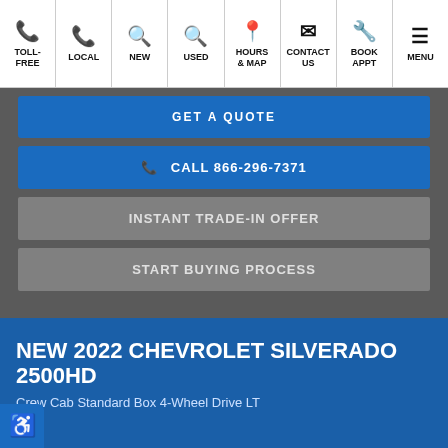TOLL-FREE | LOCAL | NEW | USED | HOURS & MAP | CONTACT US | BOOK APPT | MENU
GET A QUOTE
CALL 866-296-7371
INSTANT TRADE-IN OFFER
START BUYING PROCESS
NEW 2022 CHEVROLET SILVERADO 2500HD
Crew Cab Standard Box 4-Wheel Drive LT